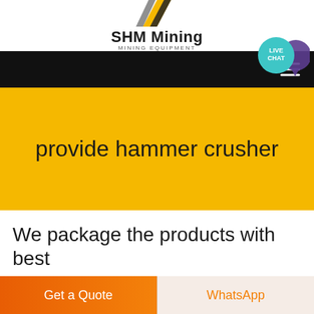[Figure (logo): SHM Mining logo with yellow and black diagonal stripe icon, company name 'SHM Mining' in bold and 'MINING EQUIPMENT' subtitle]
provide hammer crusher
We package the products with best
Get a Quote
WhatsApp